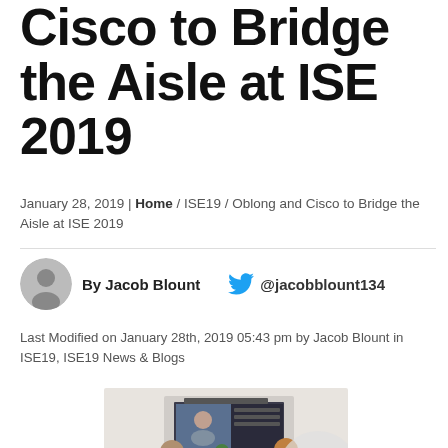Cisco to Bridge the Aisle at ISE 2019
January 28, 2019 | Home / ISE19 / Oblong and Cisco to Bridge the Aisle at ISE 2019
By Jacob Blount  @jacobblount134
Last Modified on January 28th, 2019 05:43 pm by Jacob Blount in ISE19, ISE19 News & Blogs
[Figure (photo): Conference room scene with people collaborating around a table with video conferencing screen showing a remote participant]